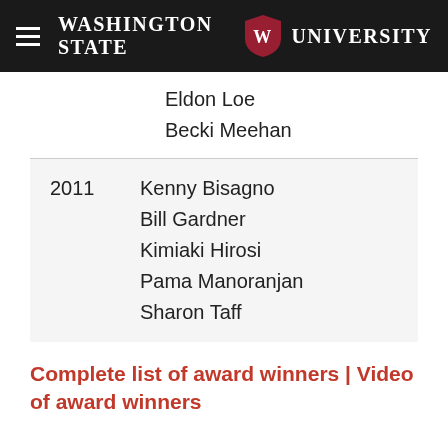Washington State University
Eldon Loe
Becki Meehan
| Year | Name |
| --- | --- |
| 2011 | Kenny Bisagno |
|  | Bill Gardner |
|  | Kimiaki Hirosi |
|  | Pama Manoranjan |
|  | Sharon Taff |
Complete list of award winners | Video of award winners